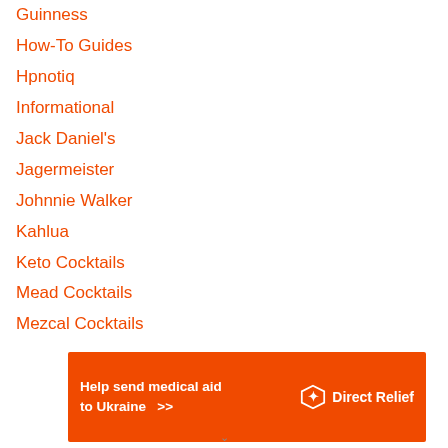Guinness
How-To Guides
Hpnotiq
Informational
Jack Daniel's
Jagermeister
Johnnie Walker
Kahlua
Keto Cocktails
Mead Cocktails
Mezcal Cocktails
[Figure (other): Direct Relief advertisement banner: orange background with white bold text 'Help send medical aid to Ukraine >>' and Direct Relief logo with text on the right.]